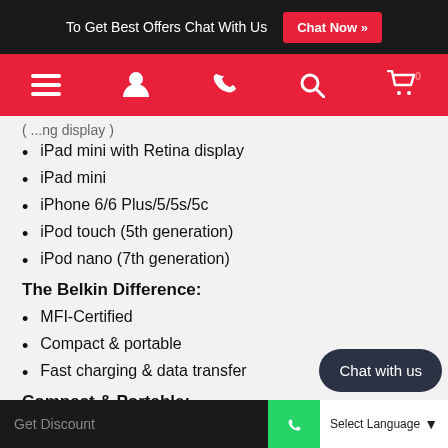To Get Best Offers Chat With Us  Chat Now »
[Figure (screenshot): Red navigation bar with hamburger menu, user icon, phone icon, search icon, and cart icon]
(partial text cut off at top)
iPad mini with Retina display
iPad mini
iPhone 6/6 Plus/5/5s/5c
iPod touch (5th generation)
iPod nano (7th generation)
The Belkin Difference:
MFI-Certified
Compact & portable
Fast charging & data transfer
Compact & Portable:
The longer 4-foot MIXIT↑ Lightning to U... till Leing c...
Get Discount  Select Language